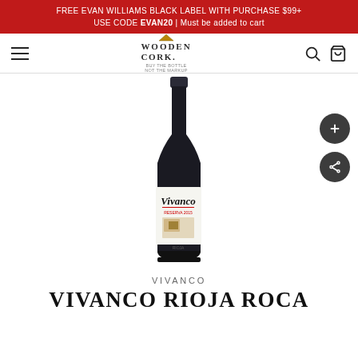FREE EVAN WILLIAMS BLACK LABEL WITH PURCHASE $99+ USE CODE EVAN20 | Must be added to cart
[Figure (logo): Wooden Cork logo with navigation hamburger menu, search icon, and cart icon]
[Figure (photo): Wine bottle of Vivanco Rioja, dark bottle with white label reading Vivanco, standing upright on white background]
VIVANCO
VIVANCO RIOJA ROCA